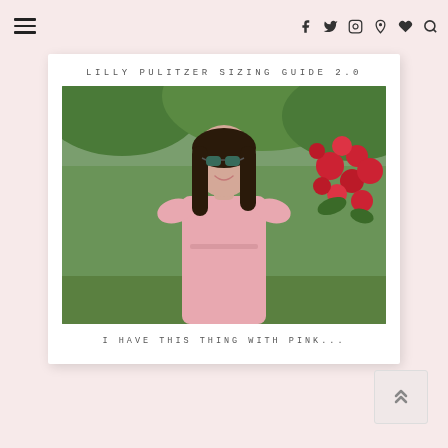Navigation bar with hamburger menu and social icons (Facebook, Twitter, Instagram, Pinterest, heart/favorites, search)
[Figure (photo): Polaroid-style card with title 'LILLY PULITZER SIZING GUIDE 2.0' at top, a photo of a young woman with long dark hair wearing sunglasses and a pink ruffled dress, standing in front of red roses and green foliage, and caption 'I HAVE THIS THING WITH PINK...' at bottom]
I HAVE THIS THING WITH PINK...